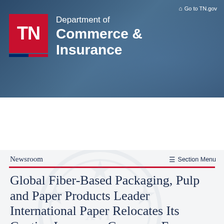Go to TN.gov
[Figure (logo): Tennessee Department of Commerce & Insurance logo with red TN box and white text]
Department of Commerce & Insurance
Search Commerce & Insurance
Section
Newsroom
Section Menu
Global Fiber-Based Packaging, Pulp and Paper Products Leader International Paper Relocates Its Captive Insurance Company From Vermont To T...